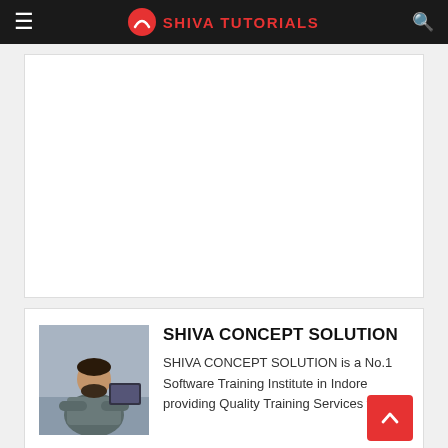SHIVA TUTORIALS
[Figure (other): Advertisement placeholder — large white empty box]
[Figure (photo): Photo of a man seated at a desk with a computer, arms crossed]
SHIVA CONCEPT SOLUTION
SHIVA CONCEPT SOLUTION is a No.1 Software Training Institute in Indore providing Quality Training Services with